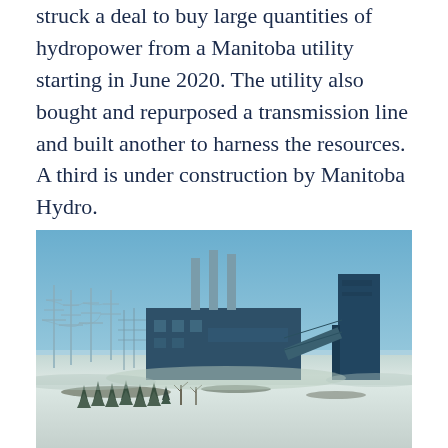struck a deal to buy large quantities of hydropower from a Manitoba utility starting in June 2020. The utility also bought and repurposed a transmission line and built another to harness the resources. A third is under construction by Manitoba Hydro.
[Figure (photo): Exterior photograph of an industrial power plant facility in winter. The building is a large dark blue/teal structure with three smokestacks and a conveyor belt system on the right side. To the left are high-voltage electrical transmission towers and power lines. The foreground shows a snowy field with small evergreen trees. The sky is clear blue.]